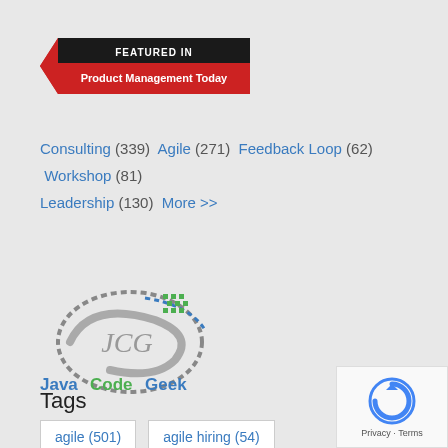[Figure (logo): Featured In Product Management Today badge — red ribbon/banner shape with black center reading FEATURED IN in white, and red text Product Management Today below on the ribbon]
Consulting (339) Agile (271) Feedback Loop (62) Workshop (81) Leadership (130) More >>
[Figure (logo): Java Code Geeks logo — circular swoosh design with JCG letters inside, blue dashed arc, green diamond dot pattern, text Java Code Geek below in blue/green]
Tags
agile (501)
agile hiring (54)